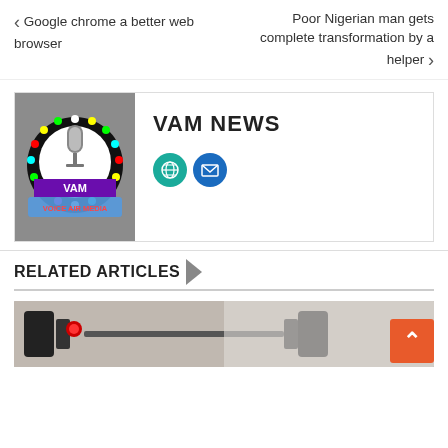« Google chrome a better web browser
Poor Nigerian man gets complete transformation by a helper »
[Figure (logo): VAM NEWS logo with Voice Air Media circular badge featuring microphone and colorful lights]
VAM NEWS
[Figure (infographic): Globe icon (teal circle) and email icon (blue circle)]
RELATED ARTICLES
[Figure (photo): Thumbnail photo of gym weights/dumbbells with red indicator light]